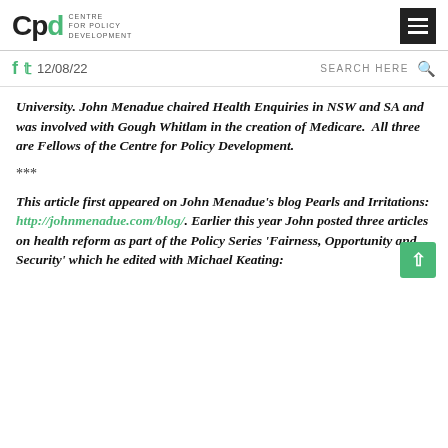CPD Centre for Policy Development
12/08/22   SEARCH HERE
University. John Menadue chaired Health Enquiries in NSW and SA and was involved with Gough Whitlam in the creation of Medicare.  All three are Fellows of the Centre for Policy Development.
***
This article first appeared on John Menadue's blog Pearls and Irritations: http://johnmenadue.com/blog/. Earlier this year John posted three articles on health reform as part of the Policy Series 'Fairness, Opportunity and Security' which he edited with Michael Keating: